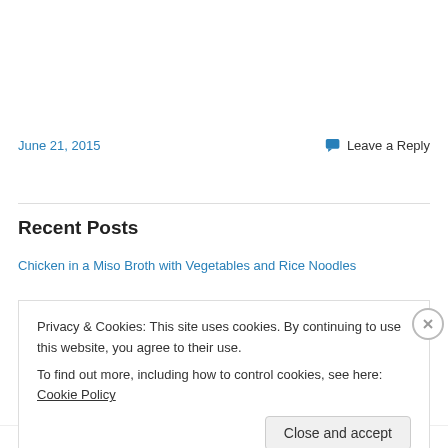June 21, 2015
Leave a Reply
Recent Posts
Chicken in a Miso Broth with Vegetables and Rice Noodles
Privacy & Cookies: This site uses cookies. By continuing to use this website, you agree to their use.
To find out more, including how to control cookies, see here: Cookie Policy
Close and accept